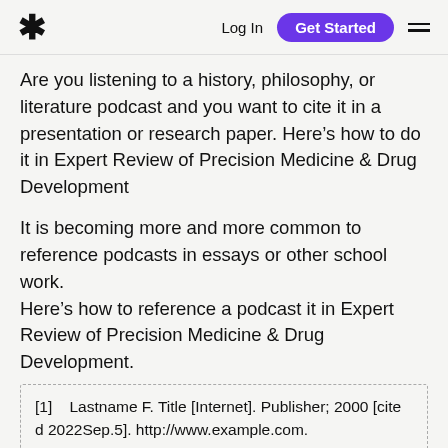* Log In  Get Started  ≡
Are you listening to a history, philosophy, or literature podcast and you want to cite it in a presentation or research paper. Here's how to do it in Expert Review of Precision Medicine & Drug Development
It is becoming more and more common to reference podcasts in essays or other school work.
Here's how to reference a podcast it in Expert Review of Precision Medicine & Drug Development.
[1]   Lastname F. Title [Internet]. Publisher; 2000 [cited 2022Sep.5]. http://www.example.com.